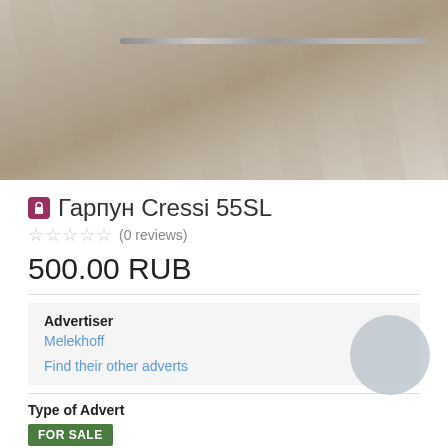[Figure (photo): Photo of a Cressi 55SL harpoon/spear against a wood-grain surface background]
Гарпун Cressi 55SL
☆☆☆☆☆ (0 reviews)
500.00 RUB
Advertiser
Melekhoff
Find their other adverts
Type of Advert
FOR SALE
Item Condition